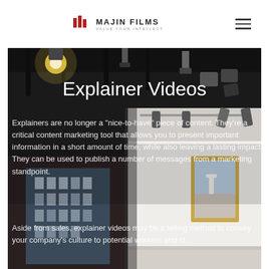MAJIN FILMS — VALUE YOUR INTELLECT
[Figure (photo): A composite hero image showing two overlapping photos: on the left a dark film/studio interior with spotlights on a dark ceiling, and on the right a bright modern studio space with track lighting and a framed poster on a white wall. A city building view is visible through a window in the left photo.]
Explainer Videos
Explainers are no longer a "nice-to-have" piece of content. They're a critical content marketing tool that allows you to present important information in a short amount of time, while also leaving a lasting impact. They can be used to publish a number of messages from a marketing standpoint.
Aside from sales, explainer videos may be a telling method to convey your company's culture to potential workers and cl...